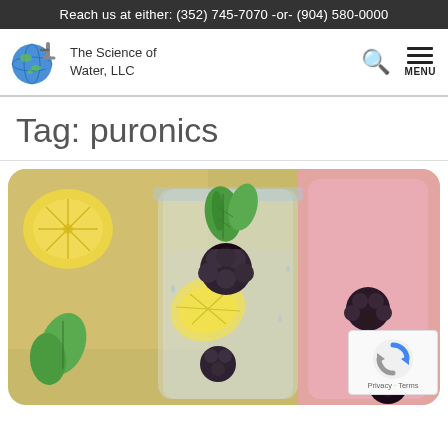Reach us at either: (352) 745-7070 -or- (904) 580-0000
[Figure (logo): The Science of Water, LLC logo with globe and faucet graphic]
Tag: puronics
[Figure (photo): Mason jar filled with blackberries, lemon slices, mint leaves, and water. Additional fruits and herbs visible in the background with pink colored drinks.]